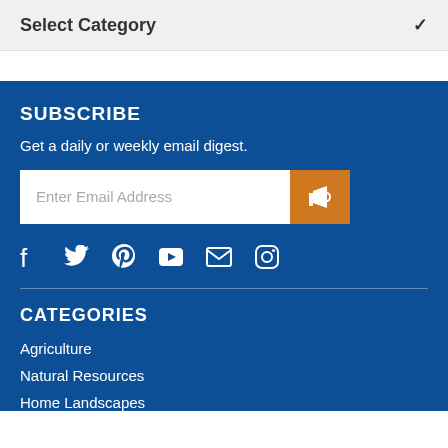Select Category
SUBSCRIBE
Get a daily or weekly email digest.
Enter Email Address
CATEGORIES
Agriculture
Natural Resources
Home Landscapes